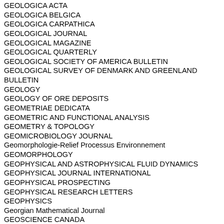GEOLOGICA ACTA
GEOLOGICA BELGICA
GEOLOGICA CARPATHICA
GEOLOGICAL JOURNAL
GEOLOGICAL MAGAZINE
GEOLOGICAL QUARTERLY
GEOLOGICAL SOCIETY OF AMERICA BULLETIN
GEOLOGICAL SURVEY OF DENMARK AND GREENLAND BULLETIN
GEOLOGY
GEOLOGY OF ORE DEPOSITS
GEOMETRIAE DEDICATA
GEOMETRIC AND FUNCTIONAL ANALYSIS
GEOMETRY & TOPOLOGY
GEOMICROBIOLOGY JOURNAL
Geomorphologie-Relief Processus Environnement
GEOMORPHOLOGY
GEOPHYSICAL AND ASTROPHYSICAL FLUID DYNAMICS
GEOPHYSICAL JOURNAL INTERNATIONAL
GEOPHYSICAL PROSPECTING
GEOPHYSICAL RESEARCH LETTERS
GEOPHYSICS
Georgian Mathematical Journal
GEOSCIENCE CANADA
GEOSCIENCES JOURNAL